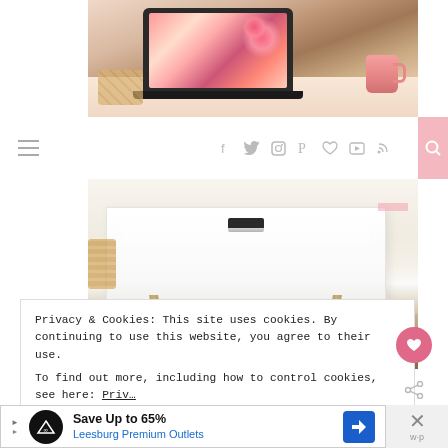[Figure (photo): Top portion of a lifestyle blog page showing a laptop with floral wallpaper, pink coffee mug, and decorative items on a pink/beige desk]
[Figure (screenshot): Navigation bar with hamburger menu on left, social media icons (Facebook, Twitter, Instagram, Pinterest, heart, YouTube, RSS) in center-right, and pink search button on far right]
[Figure (photo): White glossy lift-top coffee table with metal legs on a woven rug, photographed from an angle showing the table's storage compartment open]
Privacy & Cookies: This site uses cookies. By continuing to use this website, you agree to their use.
To find out more, including how to control cookies, see here: Privacy Policy
[Figure (screenshot): Advertisement banner: Save Up to 65% Leesburg Premium Outlets with brand logo and navigation icon]